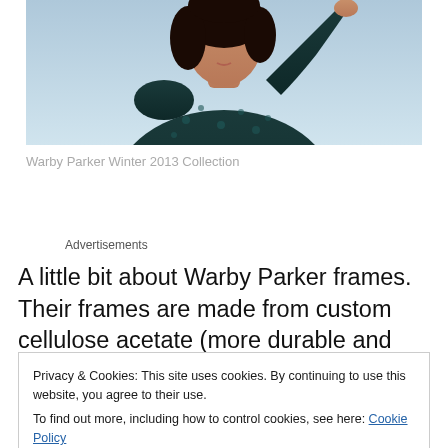[Figure (photo): Partial photo of a woman with dark hair raising her arm, wearing a dark blue/teal patterned outfit against a light blue background. Only the upper portion of the person is visible (cropped at top).]
Warby Parker Winter 2013 Collection
Advertisements
A little bit about Warby Parker frames. Their frames are made from custom cellulose acetate (more durable and flexible than plastic) and ion-plated titanium produced
Privacy & Cookies: This site uses cookies. By continuing to use this website, you agree to their use.
To find out more, including how to control cookies, see here: Cookie Policy
Close and accept